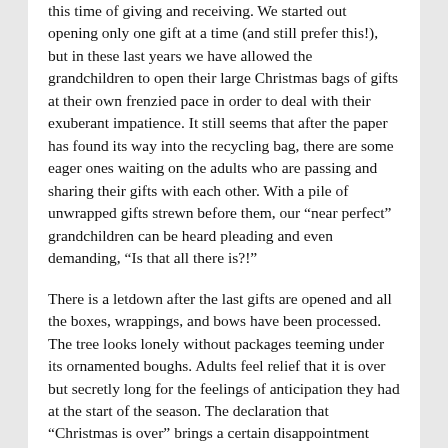this time of giving and receiving. We started out opening only one gift at a time (and still prefer this!), but in these last years we have allowed the grandchildren to open their large Christmas bags of gifts at their own frenzied pace in order to deal with their exuberant impatience. It still seems that after the paper has found its way into the recycling bag, there are some eager ones waiting on the adults who are passing and sharing their gifts with each other. With a pile of unwrapped gifts strewn before them, our “near perfect” grandchildren can be heard pleading and even demanding, “Is that all there is?!”
There is a letdown after the last gifts are opened and all the boxes, wrappings, and bows have been processed. The tree looks lonely without packages teeming under its ornamented boughs. Adults feel relief that it is over but secretly long for the feelings of anticipation they had at the start of the season. The declaration that “Christmas is over” brings a certain disappointment with the acknowledgment.
Luke’s Gospel is rich with details surrounding the first Christmas: angelic announcements to Zechariah, Mary, and the shepherds. It is the latter who are blessed to follow the angel’s directives to Bethlehem. After finding Mary and Joseph, these lowly shepherds are the first to see the baby